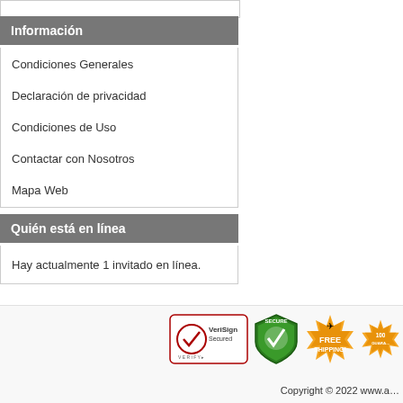Información
Condiciones Generales
Declaración de privacidad
Condiciones de Uso
Contactar con Nosotros
Mapa Web
Quién está en línea
Hay actualmente 1 invitado en línea.
[Figure (logo): Footer trust badges: VeriSign Secured, Secure shield, Free Shipping badge, Satisfaction guarantee badge]
Copyright © 2022 www.a...